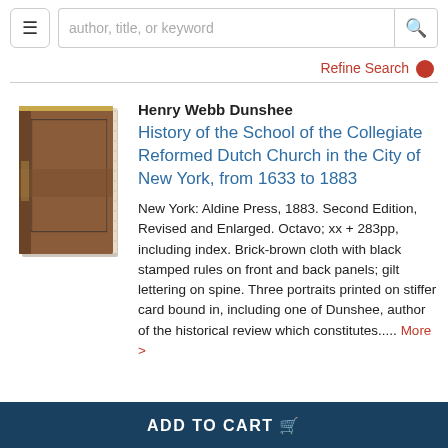author, title, or keyword
Refine Search
[Figure (photo): A brick-brown hardcover book standing upright, showing front and spine with gilt lettering and black stamped rules.]
Henry Webb Dunshee
History of the School of the Collegiate Reformed Dutch Church in the City of New York, from 1633 to 1883
New York: Aldine Press, 1883. Second Edition, Revised and Enlarged. Octavo; xx + 283pp, including index. Brick-brown cloth with black stamped rules on front and back panels; gilt lettering on spine. Three portraits printed on stiffer card bound in, including one of Dunshee, author of the historical review which constitutes..... More >
ADD TO CART